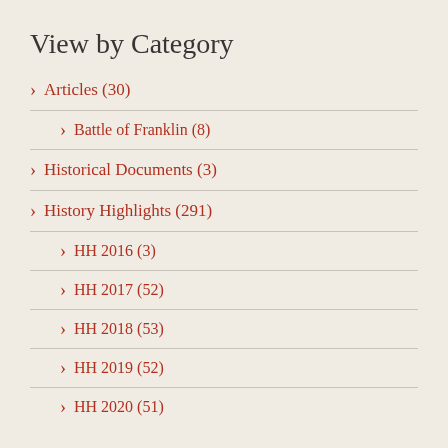View by Category
Articles (30)
Battle of Franklin (8)
Historical Documents (3)
History Highlights (291)
HH 2016 (3)
HH 2017 (52)
HH 2018 (53)
HH 2019 (52)
HH 2020 (51)